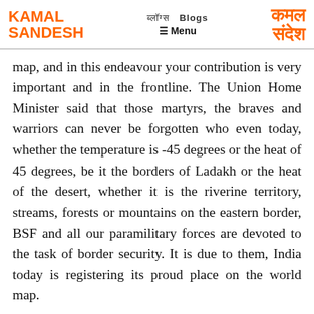KAMAL SANDESH | ब्लॉग्स Blogs ≡ Menu | कमल संदेश
map, and in this endeavour your contribution is very important and in the frontline. The Union Home Minister said that those martyrs, the braves and warriors can never be forgotten who even today, whether the temperature is -45 degrees or the heat of 45 degrees, be it the borders of Ladakh or the heat of the desert, whether it is the riverine territory, streams, forests or mountains on the eastern border, BSF and all our paramilitary forces are devoted to the task of border security. It is due to them, India today is registering its proud place on the world map.